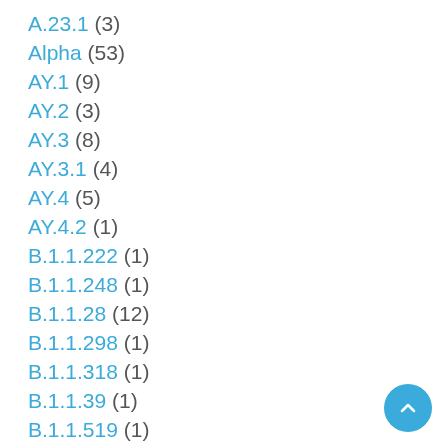A.23.1 (3)
Alpha (53)
AY.1 (9)
AY.2 (3)
AY.3 (8)
AY.3.1 (4)
AY.4 (5)
AY.4.2 (1)
B.1.1.222 (1)
B.1.1.248 (1)
B.1.1.28 (12)
B.1.1.298 (1)
B.1.1.318 (1)
B.1.1.39 (1)
B.1.1.519 (1)
B.1.1.529 (59)